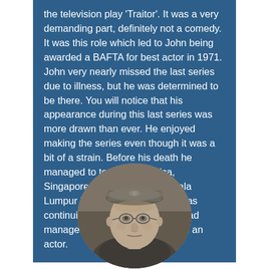the television play 'Traitor'. It was a very demanding part, definitely not a comedy. It was this role which led to John being awarded a BAFTA for best actor in 1971. John very nearly missed the last series due to illness, but he was determined to be there. You will notice that his appearance during this last series was more drawn than ever. He enjoyed making the series even though it was a bit of a strain. Before his death he managed to tour South Africa, Singapore, Hong Kong and Kuala Lumpur in various plays, as well as continuing in the West End. He had managed a credible fifty years as an actor.
[Figure (photo): Black and white circular portrait photo of an older man wearing glasses and a military-style cap, with a serious expression.]